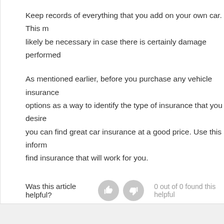Keep records of everything that you add on your own car. This m likely be necessary in case there is certainly damage performed
As mentioned earlier, before you purchase any vehicle insurance options as a way to identify the type of insurance that you desire you can find great car insurance at a good price. Use this inform find insurance that will work for you.
Was this article helpful?   0 out of 0 found this helpful
Have more questions? Submit a request